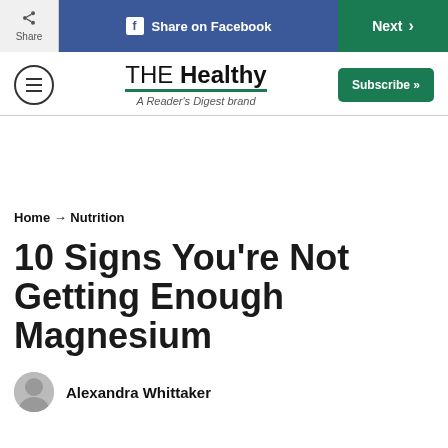Share | Share on Facebook | Next
[Figure (logo): THE Healthy - A Reader's Digest brand logo with hamburger menu and Subscribe button]
Home → Nutrition
10 Signs You're Not Getting Enough Magnesium
Alexandra Whittaker